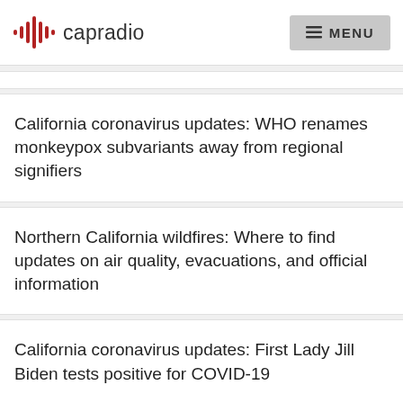capradio MENU
California coronavirus updates: WHO renames monkeypox subvariants away from regional signifiers
Northern California wildfires: Where to find updates on air quality, evacuations, and official information
California coronavirus updates: First Lady Jill Biden tests positive for COVID-19
↑ BACK TO TOP